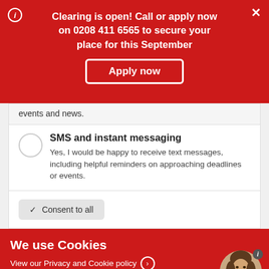Clearing is open! Call or apply now on 0208 411 6565 to secure your place for this September
Apply now
events and news.
SMS and instant messaging
Yes, I would be happy to receive text messages, including helpful reminders on approaching deadlines or events.
✓ Consent to all
We use Cookies
View our Privacy and Cookie policy >
Accept >